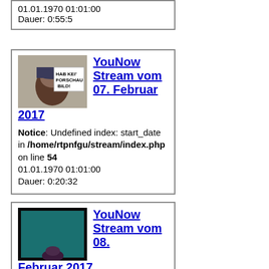01.01.1970 01:01:00
Dauer: 0:55:5
[Figure (other): Thumbnail placeholder image with text HAB KEI' FORSCHAU BILD!]
YouNow Stream vom 07. Februar 2017
Notice: Undefined index: start_date in /home/rtpnfgu/stream/index.php on line 54
01.01.1970 01:01:00
Dauer: 0:20:32
[Figure (photo): Dark thumbnail showing a teal/blue lit object]
YouNow Stream vom 08. Februar 2017
Notice: Undefined index: start_date in